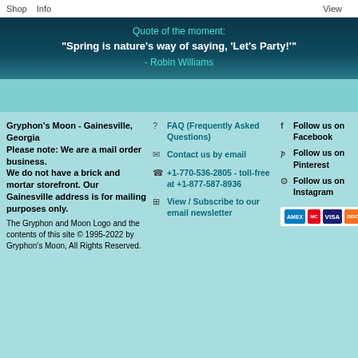Shop   Info   View
Quote of the moment:
"Spring is nature's way of saying, 'Let's Party!'"
- Robin Williams
Gryphon's Moon - Gainesville, Georgia
Please note: We are a mail order business.
We do not have a brick and mortar storefront. Our Gainesville address is for mailing purposes only.
The Gryphon and Moon Logo and the contents of this site © 1995-2022 by Gryphon's Moon, All Rights Reserved.
? FAQ (Frequently Asked Questions)
✉ Contact us by email
📞 +1-770-536-2805 - toll-free at +1-877-587-8936
📰 View / Subscribe to our email newsletter
f Follow us on Facebook
p Follow us on Pinterest
@ Follow us on Instagram
[Figure (other): Payment icons: American Express, Mastercard, VISA, Discover, PayPal]